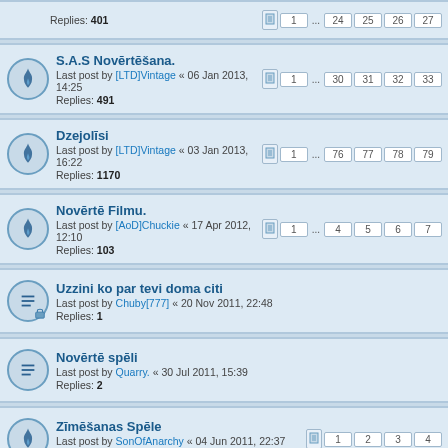Replies: 401 | pages: 1 ... 24 25 26 27
S.A.S Novērtēšana. Last post by [LTD]Vintage « 06 Jan 2013, 14:25 Replies: 491 | pages: 1 ... 30 31 32 33
Dzejolīsi Last post by [LTD]Vintage « 03 Jan 2013, 16:22 Replies: 1170 | pages: 1 ... 76 77 78 79
Novērtē Filmu. Last post by [AoD]Chuckie « 17 Apr 2012, 12:10 Replies: 103 | pages: 1 ... 4 5 6 7
Uzzini ko par tevi doma citi Last post by Chuby[777] « 20 Nov 2011, 22:48 Replies: 1
Novērtē spēli Last post by Quarry. « 30 Jul 2011, 15:39 Replies: 2
Zīmēšanas Spēle Last post by SonOfAnarchy « 04 Jun 2011, 22:37 Replies: 58 | pages: 1 2 3 4
Bilžu spēle Last post by SonOfAnarchy « 04 Jun 2011, 22:26 Replies: 149 | pages: 1 ... 7 8 9 10
Balts, vai melns? Last post by Rauls[ADT] « 17 Mar 2011, 16:39 Replies: 8